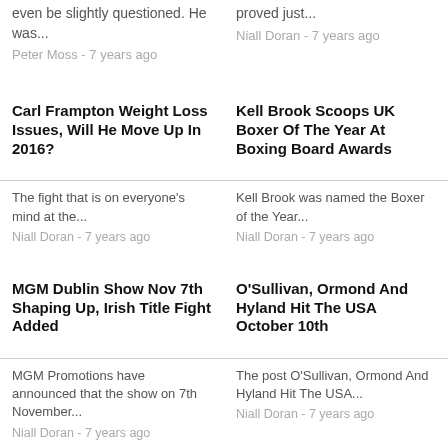even be slightly questioned. He was...
Peter Moss - 7 years ago
proved just...
Niall Doran - 7 years ago
Carl Frampton Weight Loss Issues, Will He Move Up In 2016?
Kell Brook Scoops UK Boxer Of The Year At Boxing Board Awards
The fight that is on everyone’s mind at the...
Niall Doran - 7 years ago
Kell Brook was named the Boxer of the Year...
Niall Doran - 7 years ago
MGM Dublin Show Nov 7th Shaping Up, Irish Title Fight Added
O’Sullivan, Ormond And Hyland Hit The USA October 10th
MGM Promotions have announced that the show on 7th November...
Niall Doran - 7 years ago
The post O’Sullivan, Ormond And Hyland Hit The USA...
Niall Doran - 7 years ago